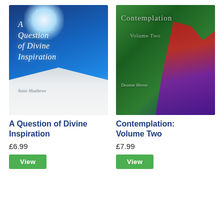[Figure (photo): Book cover of 'A Question of Divine Inspiration' by Susie Matthews — blue starry background with open book on wooden surface, script lettering title]
A Question of Divine Inspiration
£6.99
[Figure (photo): Book cover of 'Contemplation: Volume Two' by Deanne Heron — garden foliage background with red tropical plant, light grey italic title text]
Contemplation: Volume Two
£7.99